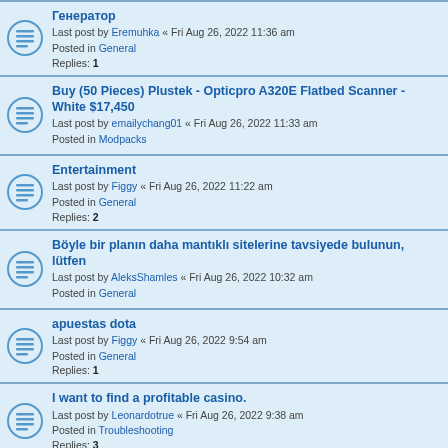Генератор
Last post by Eremuhka « Fri Aug 26, 2022 11:36 am
Posted in General
Replies: 1
Buy (50 Pieces) Plustek - Opticpro A320E Flatbed Scanner - White $17,450
Last post by emailychang01 « Fri Aug 26, 2022 11:33 am
Posted in Modpacks
Entertainment
Last post by Figgy « Fri Aug 26, 2022 11:22 am
Posted in General
Replies: 2
Böyle bir planın daha mantıklı sitelerine tavsiyede bulunun, lütfen
Last post by AleksShamles « Fri Aug 26, 2022 10:32 am
Posted in General
apuestas dota
Last post by Figgy « Fri Aug 26, 2022 9:54 am
Posted in General
Replies: 1
I want to find a profitable casino.
Last post by Leonardotrue « Fri Aug 26, 2022 9:38 am
Posted in Troubleshooting
Replies: 3
cbd experience thread
Last post by Greender « Fri Aug 26, 2022 8:52 am
Posted in General
Replies: 1